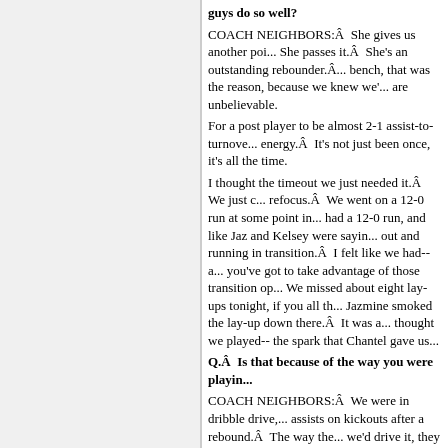guys do so well?
COACH NEIGHBORS:Â  She gives us another poi... She passes it.Â  She's an outstanding rebounder.Â...bench, that was the reason, because we knew we'... are unbelievable.
For a post player to be almost 2-1 assist-to-turnove... energy.Â  It's not just been once, it's all the time.
I thought the timeout we just needed it.Â  We just c... refocus.Â  We went on a 12-0 run at some point in... had a 12-0 run, and like Jaz and Kelsey were sayin... out and running in transition.Â  I felt like we had-- a... you've got to take advantage of those transition op... We missed about eight lay-ups tonight, if you all th... Jazmine smoked the lay-up down there.Â  It was a... thought we played-- the spark that Chantel gave us...
Q.Â  Is that because of the way you were playin...
COACH NEIGHBORS:Â  We were in dribble drive,... assists on kickouts after a rebound.Â  The way the... we'd drive it, they were forcing us to make shots.
So our number of assists, I don't look at that very c... it so much, and we don't throw it to the post a whol... and how they were doing there.Â  So always when...
FastScripts Transcript by ASAP Sports
About ASAP Sports • FastScripts Archive • Recent Interviews • C...
FastScripts | Events Covered | Our Clients | Other Services | ASAP in t...